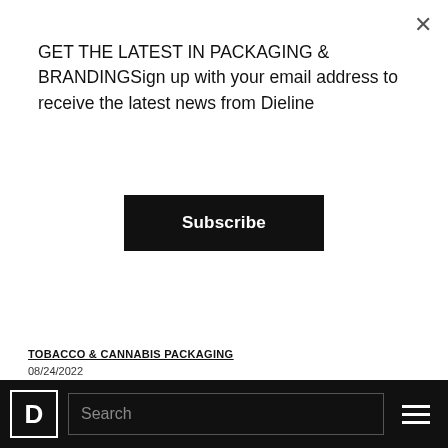GET THE LATEST IN PACKAGING & BRANDINGSign up with your email address to receive the latest news from Dieline
Subscribe
TOBACCO & CANNABIS PACKAGING
08/24/2022
Jeeter Launches Mini Pop-Up Tour Inspired By Convenience Stores
[Figure (photo): Light blue background with red cursive text 'YUMMY', red 'JOY', pink oval badge with 'New', and large blue stylized text that appears to be the Jeeter brand name in script lettering.]
Search